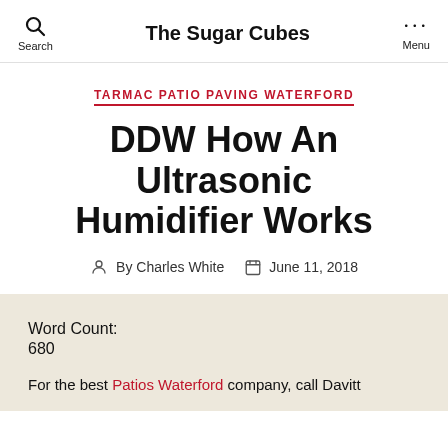The Sugar Cubes
TARMAC PATIO PAVING WATERFORD
DDW How An Ultrasonic Humidifier Works
By Charles White   June 11, 2018
Word Count:
680
For the best Patios Waterford company, call Davitt